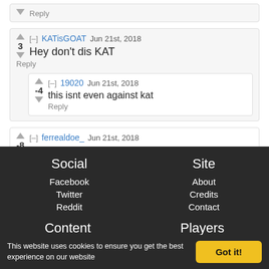KATisGOAT Jun 21st, 2018 | Score: 3 | Hey don't dis KAT | Reply
19020 Jun 21st, 2018 | Score: -4 | this isnt even against kat | Reply
ferrealdoe_ Jun 21st, 2018 | Score: -8 | Overrated | Reply
Social | Facebook | Twitter | Reddit | Content | Site | About | Credits | Contact | Players
This website uses cookies to ensure you get the best experience on our website
Got it!